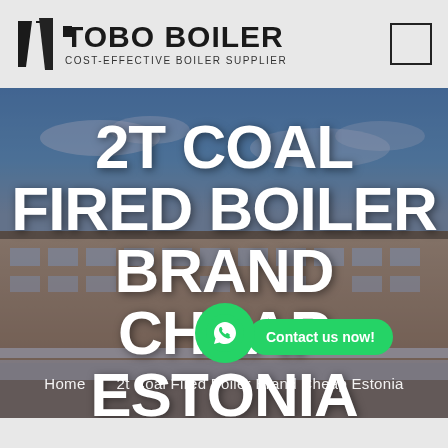[Figure (logo): TOBO BOILER logo with triangular icon and text 'COST-EFFECTIVE BOILER SUPPLIER']
[Figure (photo): Hero banner image of a large industrial factory building (boiler manufacturing facility) with blue sky background. Large white bold text overlay reads '2T COAL FIRED BOILER BRAND CHEAP ESTONIA'. A WhatsApp button and 'Contact us now!' green CTA button overlay the image. Breadcrumb navigation at bottom: 'Home | 2t Coal Fired Boiler Brand Cheap Estonia']